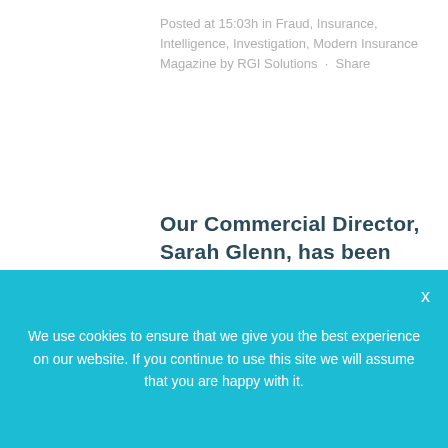Posted at 15:03h in Fraud, Insurance, Intelligence, Investigation, Modern Insurance Magazine by RGI Solutions · Share
Our Commercial Director, Sarah Glenn, has been speaking to Modern Insurance Magazine about celebrating 30 years in business and the importance of people, values & customer
We use cookies to ensure that we give you the best experience on our website. If you continue to use this site we will assume that you are happy with it.